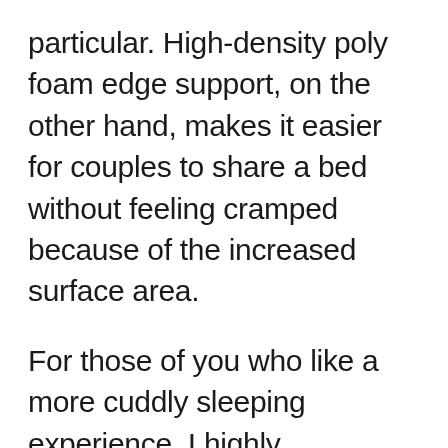particular. High-density poly foam edge support, on the other hand, makes it easier for couples to share a bed without feeling cramped because of the increased surface area.
For those of you who like a more cuddly sleeping experience, I highly recommend the Loom & Leaf! With a thick layer of cooling gel memory foam on top, this mattress provides a comfortable sinking experience for the shoulders, hips and lower back. Those who sleep on their sides, as well as those who suffer from joint pain or arthritis, may find this